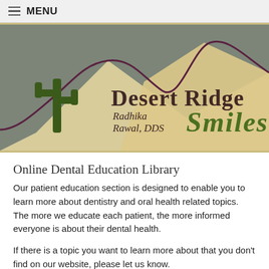≡ MENU
[Figure (logo): Desert Ridge Smiles logo — green cactus silhouette and tan mountain ridgeline on grey-green background, with text 'Desert Ridge Smiles' and 'Radhika Rawal, DDS']
Online Dental Education Library
Our patient education section is designed to enable you to learn more about dentistry and oral health related topics. The more we educate each patient, the more informed everyone is about their dental health.
If there is a topic you want to learn more about that you don't find on our website, please let us know.
You will find information ranging from what causes bad breath